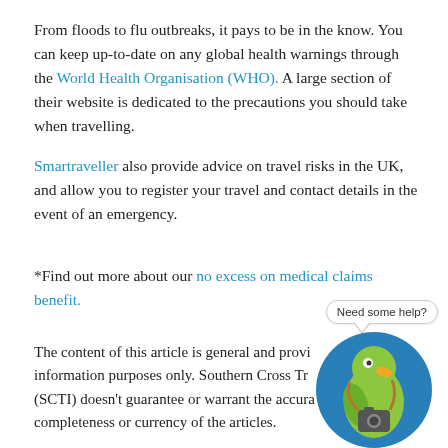From floods to flu outbreaks, it pays to be in the know. You can keep up-to-date on any global health warnings through the World Health Organisation (WHO). A large section of their website is dedicated to the precautions you should take when travelling.
Smartraveller also provide advice on travel risks in the UK, and allow you to register your travel and contact details in the event of an emergency.
*Find out more about our no excess on medical claims benefit.
[Figure (illustration): A cartoon green parrot wearing a camera around its neck, inside a blue circle, with a speech bubble saying 'Need some help?']
The content of this article is general and provided for information purposes only. Southern Cross Travel Insurance (SCTI) doesn't guarantee or warrant the accuracy, completeness or currency of the articles.